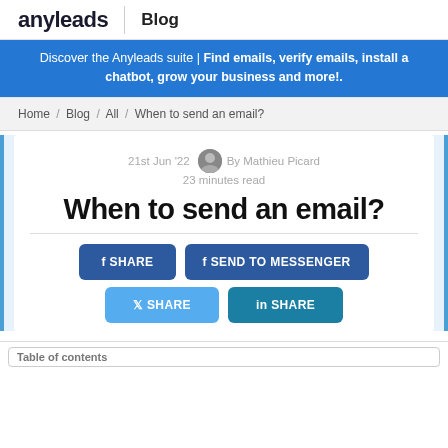anyleads | Blog
Discover the Anyleads suite | Find emails, verify emails, install a chatbot, grow your business and more!.
Home / Blog / All / When to send an email?
21st Jun '22   By Mathieu Picard
23 minutes read
When to send an email?
f SHARE   f SEND TO MESSENGER   y SHARE   in SHARE